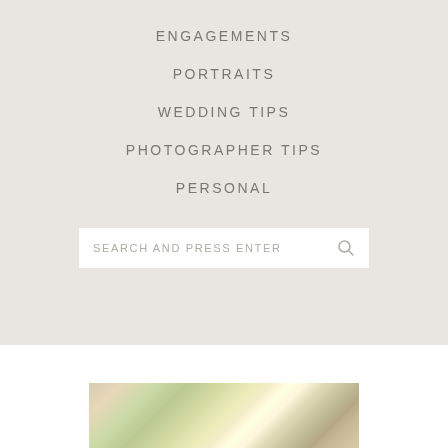ENGAGEMENTS
PORTRAITS
WEDDING TIPS
PHOTOGRAPHER TIPS
PERSONAL
SEARCH AND PRESS ENTER
[Figure (photo): Partial view of an outdoor photo with greenery and natural light, visible at the bottom of the page]